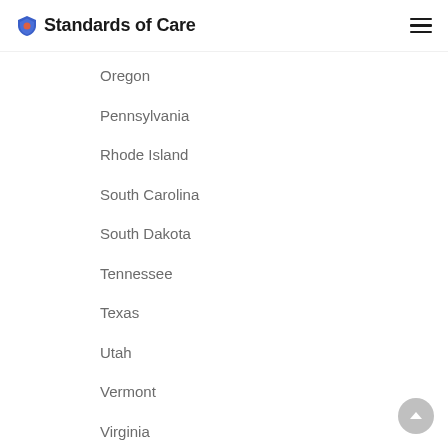Standards of Care
Oregon
Pennsylvania
Rhode Island
South Carolina
South Dakota
Tennessee
Texas
Utah
Vermont
Virginia
Washington D.C.
Washington
West Virginia